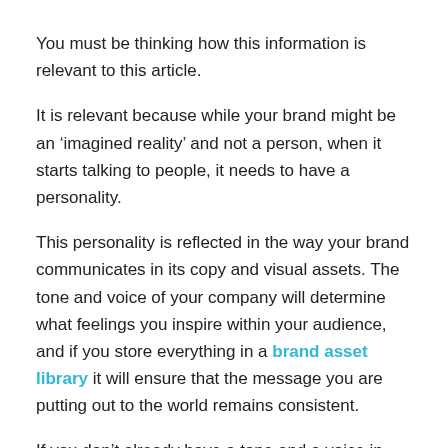You must be thinking how this information is relevant to this article.
It is relevant because while your brand might be an ‘imagined reality’ and not a person, when it starts talking to people, it needs to have a personality.
This personality is reflected in the way your brand communicates in its copy and visual assets. The tone and voice of your company will determine what feelings you inspire within your audience, and if you store everything in a brand asset library it will ensure that the message you are putting out to the world remains consistent.
If you don’t already have a tone and a voice in mind, you can get started with the following exercise:
Think of your brand as a person. Now, make a list of the